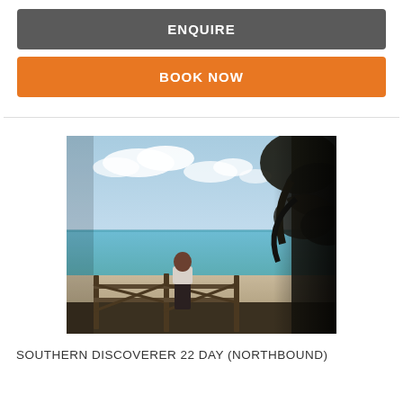ENQUIRE
BOOK NOW
[Figure (photo): Person standing at a wooden fence overlooking a tropical beach with turquoise water and blue sky, framed by dark tree on the right.]
SOUTHERN DISCOVERER 22 DAY (NORTHBOUND)